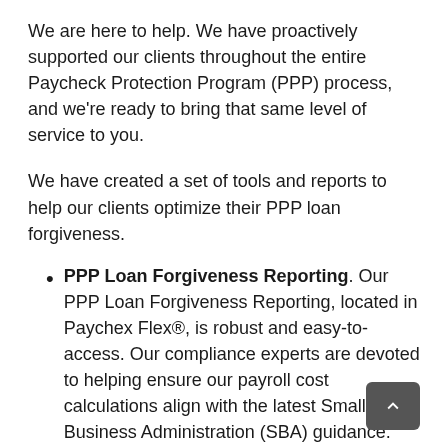We are here to help. We have proactively supported our clients throughout the entire Paycheck Protection Program (PPP) process, and we're ready to bring that same level of service to you.
We have created a set of tools and reports to help our clients optimize their PPP loan forgiveness.
PPP Loan Forgiveness Reporting. Our PPP Loan Forgiveness Reporting, located in Paychex Flex®, is robust and easy-to-access. Our compliance experts are devoted to helping ensure our payroll cost calculations align with the latest Small Business Administration (SBA) guidance.
PPP Loan Forgiveness Estimator. As one of the first payroll providers to introduce a PPP Loan Forgiveness Estimator, our estimator in